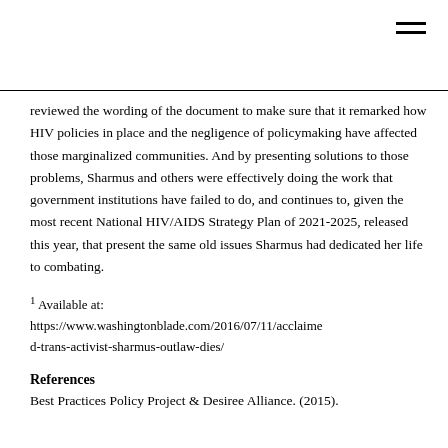reviewed the wording of the document to make sure that it remarked how HIV policies in place and the negligence of policymaking have affected those marginalized communities. And by presenting solutions to those problems, Sharmus and others were effectively doing the work that government institutions have failed to do, and continues to, given the most recent National HIV/AIDS Strategy Plan of 2021-2025, released this year, that present the same old issues Sharmus had dedicated her life to combating.
¹ Available at: https://www.washingtonblade.com/2016/07/11/acclaimed-trans-activist-sharmus-outlaw-dies/
References
Best Practices Policy Project & Desiree Alliance. (2015).